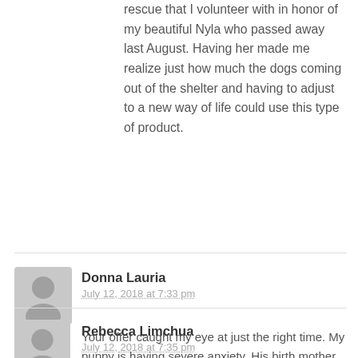rescue that I volunteer with in honor of my beautiful Nyla who passed away last August. Having her made me realize just how much the dogs coming out of the shelter and having to adjust to a new way of life could use this type of product.
Donna Lauria
July 12, 2018 at 7:33 pm

Your offer caught my eye at just the right time. My puppy is having severe anxiety. His birth mother moved to a different home last week and nothing is soothing him, not even steak or hot dogs. He won't touch them. If this works it would be the answer to my prayers.
Rebecca Limchua
July 12, 2018 at 7:35 pm